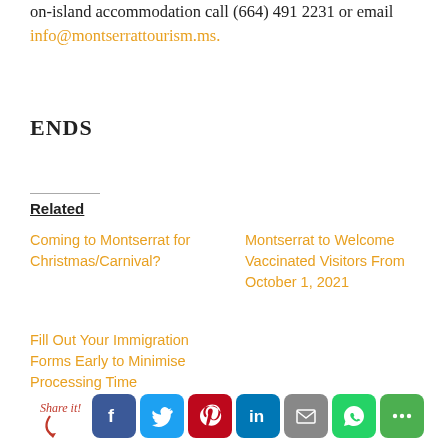on-island accommodation call (664) 491 2231 or email info@montserrattourism.ms.
ENDS
Related
Coming to Montserrat for Christmas/Carnival?
Montserrat to Welcome Vaccinated Visitors From October 1, 2021
Fill Out Your Immigration Forms Early to Minimise Processing Time
[Figure (infographic): Share it! social sharing bar with Facebook, Twitter, Pinterest, LinkedIn, Email, WhatsApp, and More sharing buttons]